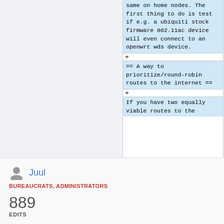same on home nodes. The first thing to do is test if e.g. a ubiquiti stock firmware 802.11ac device will even connect to an openwrt wds device.
+
== A way to prioritize/round-robin routes to the internet ==
+
If you have two equally viable routes to the
Juul
BUREAUCRATS, ADMINISTRATORS
889
EDITS